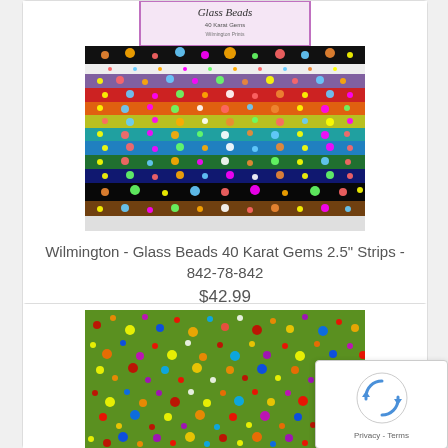[Figure (photo): Wilmington Glass Beads 40 Karat Gems 2.5 inch strips fabric product photo showing colorful stacked fabric strips with glass bead patterns in rainbow colors]
Wilmington - Glass Beads 40 Karat Gems 2.5" Strips - 842-78-842
$42.99
[Figure (photo): Green fabric with colorful scattered glass bead dot pattern in red, yellow, blue, purple on green background]